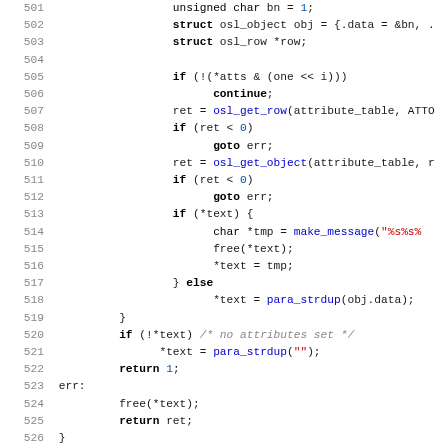[Figure (screenshot): Source code listing in C, lines 501-532, showing function body with conditionals, goto statements, string manipulation, and a doxygen comment block. Displayed with syntax highlighting: keywords in bold black, function names in blue, strings in red, comments in gray italic, numbers in blue.]